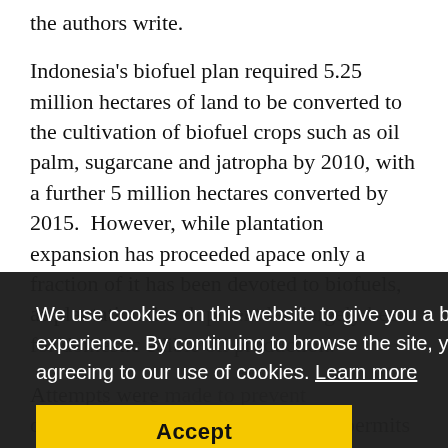the authors write.
Indonesia's biofuel plan required 5.25 million hectares of land to be converted to the cultivation of biofuel crops such as oil palm, sugarcane and jatropha by 2010, with a further 5 million hectares converted by 2015. However, while plantation expansion has proceeded apace only a fraction of it has been devoted to biofuels, as plantation development has largely been for domestic edible oil production.
We use cookies on this website to give you a better user experience. By continuing to browse the site, you are agreeing to our use of cookies. Learn more
Attempts were made to prevent deforestation by primarily granting permits to establish oil palm plantations on degraded land, these may have backfired where undisturbed forest has been intentionally degraded under the pretext